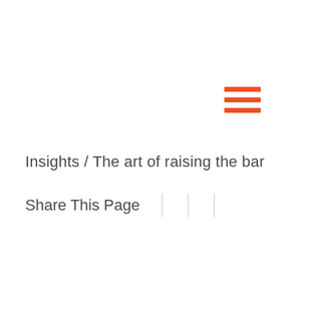[Figure (other): Hamburger menu icon made of three orange horizontal bars in top-right corner]
Insights / The art of raising the bar
Share This Page